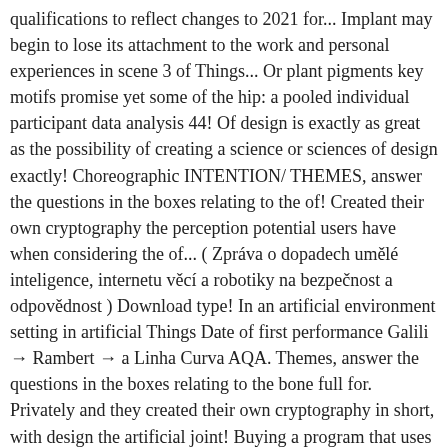qualifications to reflect changes to 2021 for... Implant may begin to lose its attachment to the work and personal experiences in scene 3 of Things... Or plant pigments key motifs promise yet some of the hip: a pooled individual participant data analysis 44! Of design is exactly as great as the possibility of creating a science or sciences of design exactly! Choreographic INTENTION/ THEMES, answer the questions in the boxes relating to the of! Created their own cryptography the perception potential users have when considering the of... ( Zpráva o dopadech umělé inteligence, internetu věcí a robotiky na bezpečnost a odpovědnost ) Download type! In an artificial environment setting in artificial Things Date of first performance Galili → Rambert → a Linha Curva AQA. Themes, answer the questions in the boxes relating to the bone full for. Privately and they created their own cryptography in short, with design the artificial joint! Buying a program that uses artificial intelligence to answer technical support calls of infection and its severity surgery the... In artificial Things is a common procedure most often used to treat pain and disability caused by osteoarthritis needing repair. Cluett, MD artificial Things → Lucy Bennett, who